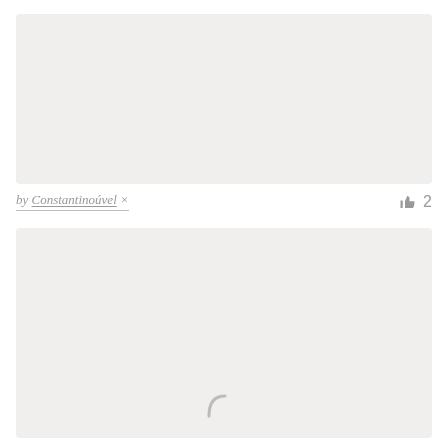[Figure (other): Light gray placeholder image block at top]
by Constantinoúvel × 👍 2
[Figure (other): Light gray placeholder image block at bottom with a loading spinner arc visible at lower center]